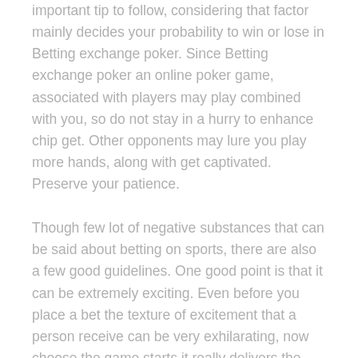important tip to follow, considering that factor mainly decides your probability to win or lose in Betting exchange poker. Since Betting exchange poker an online poker game, associated with players may play combined with you, so do not stay in a hurry to enhance chip get. Other opponents may lure you play more hands, along with get captivated. Preserve your patience.
Though few lot of negative substances that can be said about betting on sports, there are also a few good guidelines. One good point is that it can be extremely exciting. Even before you place a bet the texture of excitement that a person receive can be very exhilarating, now choose the game starts it really delivers the heart putting.